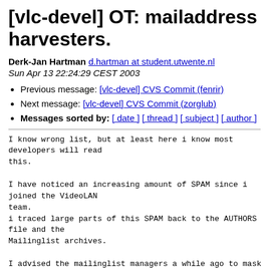[vlc-devel] OT: mailaddress harvesters.
Derk-Jan Hartman d.hartman at student.utwente.nl
Sun Apr 13 22:24:29 CEST 2003
Previous message: [vlc-devel] CVS Commit (fenrir)
Next message: [vlc-devel] CVS Commit (zorglub)
Messages sorted by: [ date ] [ thread ] [ subject ] [ author ]
I know wrong list, but at least here i know most
developers will read
this.

I have noticed an increasing amount of SPAM since i
joined the VideoLAN
team.
i traced large parts of this SPAM back to the AUTHORS
file and the
Mailinglist archives.

I advised the mailinglist managers a while ago to mask
the adresses in
there archives, and this is being worked on at the